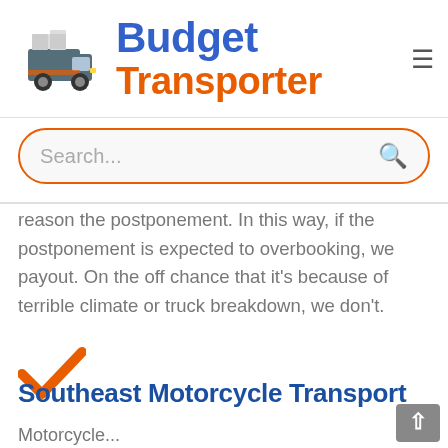[Figure (logo): Budget Transporter logo with a truck illustration on the left and 'Budget' in blue bold text and 'Transporter' in orange bold text on the right, with a hamburger menu icon]
[Figure (other): Search bar with orange border, rounded pill shape, placeholder text 'Search...' and a search magnifying glass icon]
reason the postponement. In this way, if the postponement is expected to overbooking, we payout. On the off chance that it's because of terrible climate or truck breakdown, we don't.
[Figure (illustration): Orange checkmark icon]
Southeast Motorcycle Transport
Motorcycle...